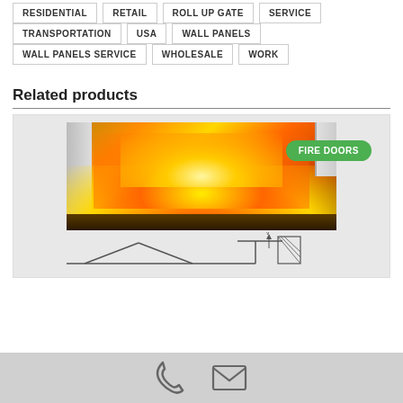RESIDENTIAL
RETAIL
ROLL UP GATE
SERVICE
TRANSPORTATION
USA
WALL PANELS
WALL PANELS SERVICE
WHOLESALE
WORK
Related products
[Figure (photo): Fire doors product image showing flames in a warehouse/industrial setting with FIRE DOORS badge overlay]
[Figure (engineering-diagram): Engineering schematic/diagram of a door mechanism cross-section]
Phone and email contact icons